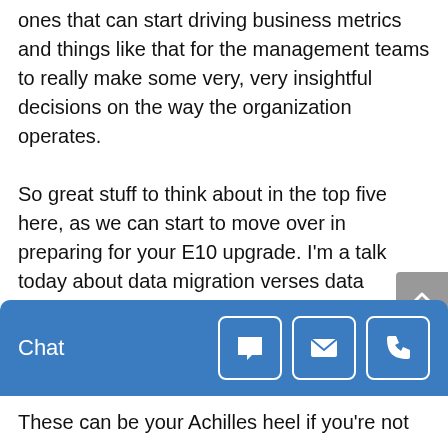ones that can start driving business metrics and things like that for the management teams to really make some very, very insightful decisions on the way the organization operates. So great stuff to think about in the top five here, as we can start to move over in preparing for your E10 upgrade. I'm a talk today about data migration verses data conversion. We're gonna talk about process inventory and value streams, what those mean to your organization and how we look at and approach those. Epicor 10 Delta. There's a lot of process, a lot a technology change that's gone on in
[Figure (screenshot): Blue chat bar at the bottom of the screen with 'Chat' label and three icon buttons: chat bubble, envelope (email), and phone.]
These can be your Achilles heel if you're not